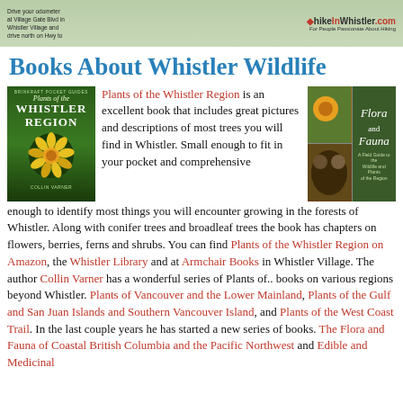HikeInWhistler.com — For People Passionate About Hiking
Books About Whistler Wildlife
[Figure (photo): Book cover: Plants of the Whistler Region by Collin Varner, green cover with yellow flower]
Plants of the Whistler Region is an excellent book that includes great pictures and descriptions of most trees you will find in Whistler. Small enough to fit in your pocket and comprehensive enough to identify most things you will encounter growing in the forests of Whistler. Along with conifer trees and broadleaf trees the book has chapters on flowers, berries, ferns and shrubs. You can find Plants of the Whistler Region on Amazon, the Whistler Library and at Armchair Books in Whistler Village. The author Collin Varner has a wonderful series of Plants of.. books on various regions beyond Whistler. Plants of Vancouver and the Lower Mainland, Plants of the Gulf and San Juan Islands and Southern Vancouver Island, and Plants of the West Coast Trail. In the last couple years he has started a new series of books. The Flora and Fauna of Coastal British Columbia and the Pacific Northwest and Edible and Medicinal
[Figure (photo): Book cover: Flora and Fauna, showing wildlife collage with bear, sunflower, insects]